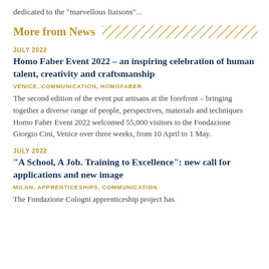dedicated to the "marvellous liaisons"...
More from News
JULY 2022
Homo Faber Event 2022 – an inspiring celebration of human talent, creativity and craftsmanship
VENICE, COMMUNICATION, HOMOFABER
The second edition of the event put artisans at the forefront – bringing together a diverse range of people, perspectives, materials and techniques Homo Faber Event 2022 welcomed 55,000 visitors to the Fondazione Giorgio Cini, Venice over three weeks, from 10 April to 1 May.
JULY 2022
"A School, A Job. Training to Excellence": new call for applications and new image
MILAN, APPRENTICESHIPS, COMMUNICATION
The Fondazione Cologni apprenticeship project has